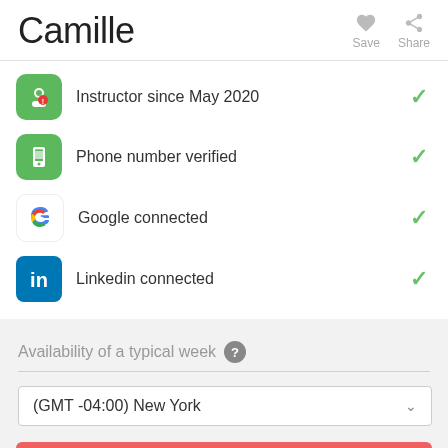Camille
Save
Share
Instructor since May 2020
Phone number verified
Google connected
Linkedin connected
Availability of a typical week
(GMT -04:00) New York
Contact Camille